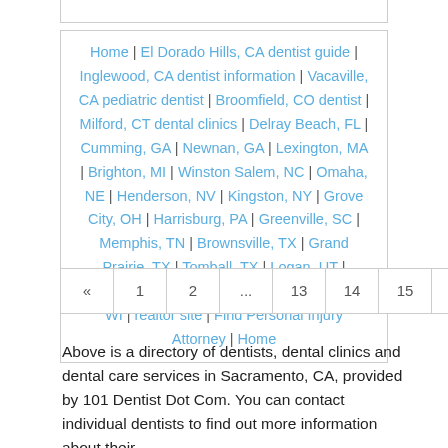Home | El Dorado Hills, CA dentist guide | Inglewood, CA dentist information | Vacaville, CA pediatric dentist | Broomfield, CO dentist | Milford, CT dental clinics | Delray Beach, FL | Cumming, GA | Newnan, GA | Lexington, MA | Brighton, MI | Winston Salem, NC | Omaha, NE | Henderson, NV | Kingston, NY | Grove City, OH | Harrisburg, PA | Greenville, SC | Memphis, TN | Brownsville, TX | Grand Prairie, TX | Tomball, TX | Logan, UT | Chesapeake, VA | Bellingham, WA | Madison, WI | realtor site | Find Personal Injury Attorney | Home
« 1 2 ... 13 14 15 16 17 18 19 20 »
Above is a directory of dentists, dental clinics and dental care services in Sacramento, CA, provided by 101 Dentist Dot Com. You can contact individual dentists to find out more information about their